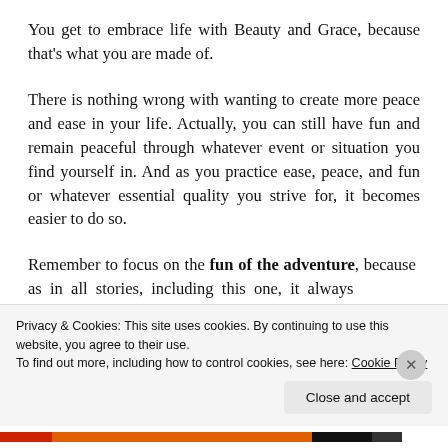You get to embrace life with Beauty and Grace, because that's what you are made of.
There is nothing wrong with wanting to create more peace and ease in your life. Actually, you can still have fun and remain peaceful through whatever event or situation you find yourself in. And as you practice ease, peace, and fun or whatever essential quality you strive for, it becomes easier to do so.
Remember to focus on the fun of the adventure, because as in all stories, including this one, it always
Privacy & Cookies: This site uses cookies. By continuing to use this website, you agree to their use.
To find out more, including how to control cookies, see here: Cookie Policy
Close and accept